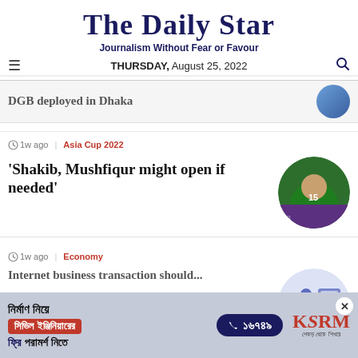The Daily Star
Journalism Without Fear or Favour
THURSDAY, August 25, 2022
DGB deployed in Dhaka
1w ago | Asia Cup 2022
'Shakib, Mushfiqur might open if needed'
1w ago | Economy
[Figure (photo): Cricket players in green jerseys celebrating]
[Figure (illustration): Economy infographic illustration]
[Figure (infographic): KSRM advertisement in Bengali - civil engineering consultation ad]